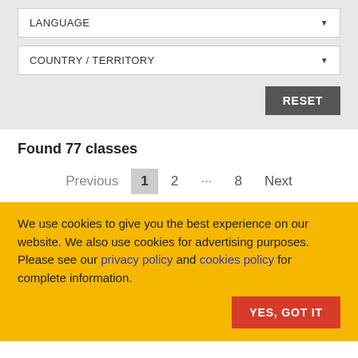LANGUAGE
COUNTRY / TERRITORY
RESET
Found 77 classes
Previous 1 2 ... 8 Next
We use cookies to give you the best experience on our website. We also use cookies for advertising purposes. Please see our privacy policy and cookies policy for complete information.
YES, GOT IT